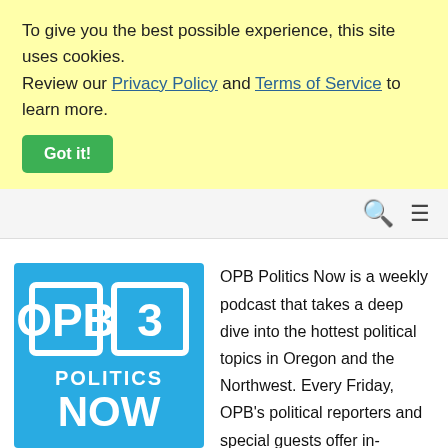To give you the best possible experience, this site uses cookies. Review our Privacy Policy and Terms of Service to learn more.
Got it!
[Figure (logo): OPB Politics Now logo — blue square with white text reading OPB POLITICS NOW]
OPB Politics Now is a weekly podcast that takes a deep dive into the hottest political topics in Oregon and the Northwest. Every Friday, OPB's political reporters and special guests offer in-depth analysis, discussion and insight into candidates, events and issues.